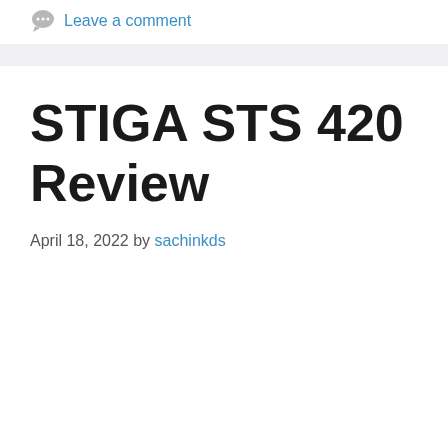Leave a comment
STIGA STS 420 Review
April 18, 2022 by sachinkds